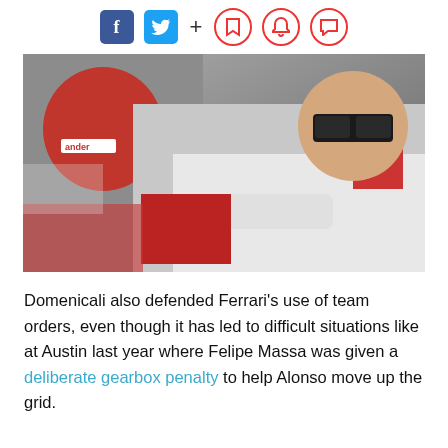[Figure (other): Social media sharing icons: Facebook (blue square with f), Twitter (blue square with bird), plus sign, and three circular red outline icons (bookmark, bell, speech bubble)]
[Figure (photo): Formula 1 driver wearing white Ferrari racing suit and dark sunglasses, seated in a relaxed pose leaning against red Ferrari equipment in a garage setting. A red helmet with Santander branding is visible to the left.]
Domenicali also defended Ferrari's use of team orders, even though it has led to difficult situations like at Austin last year where Felipe Massa was given a deliberate gearbox penalty to help Alonso move up the grid.